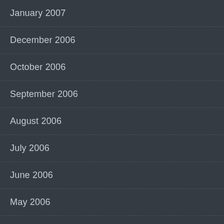January 2007
December 2006
October 2006
September 2006
August 2006
July 2006
June 2006
May 2006